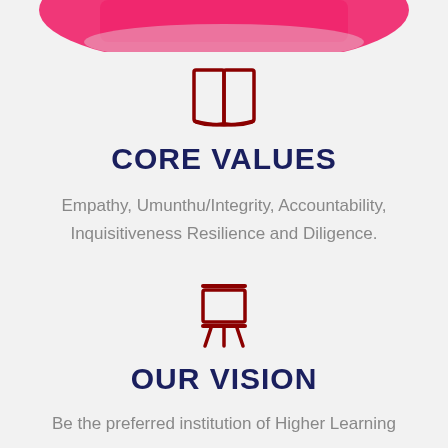[Figure (photo): Partial photo of a person in a pink/magenta outfit, cropped at top of page]
[Figure (illustration): Open book icon in dark red outline]
CORE VALUES
Empathy, Umunthu/Integrity, Accountability, Inquisitiveness Resilience and Diligence.
[Figure (illustration): Easel/presentation board icon in dark red outline]
OUR VISION
Be the preferred institution of Higher Learning